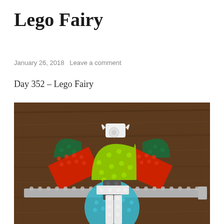Lego Fairy
January 26, 2018   Leave a comment
Day 352 – Lego Fairy
[Figure (photo): A fairy figure made from assembled LEGO bricks on a wooden surface. The fairy has colorful wings made from red, dark green, and lime green quarter-circle LEGO pieces, a lime green body/torso, a white head piece on top, a teal circular base for the lower body, and gray LEGO plates forming the arms extended horizontally. White and dark gray bricks form the legs/skirt area below.]